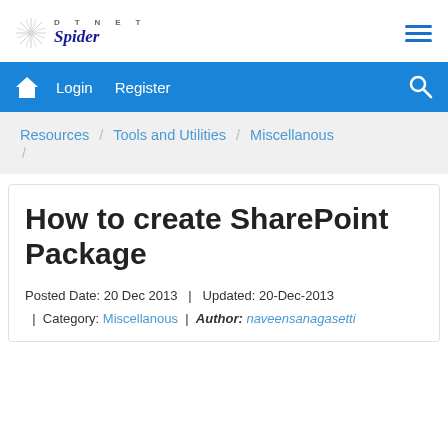DotNet Spider — site logo and navigation header
Login  Register
Resources / Tools and Utilities / Miscellanous /
How to create SharePoint Package
Posted Date: 20 Dec 2013  |  Updated: 20-Dec-2013  |  Category: Miscellanous  |  Author: naveensanagasetti